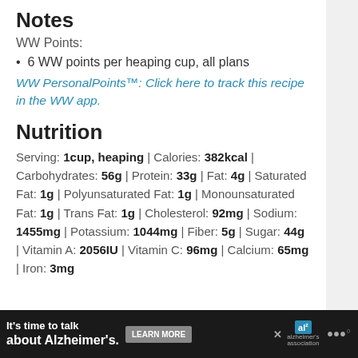Notes
WW Points:
6 WW points per heaping cup, all plans
WW PersonalPoints™: Click here to track this recipe in the WW app.
Nutrition
Serving: 1cup, heaping | Calories: 382kcal | Carbohydrates: 56g | Protein: 33g | Fat: 4g | Saturated Fat: 1g | Polyunsaturated Fat: 1g | Monounsaturated Fat: 1g | Trans Fat: 1g | Cholesterol: 92mg | Sodium: 1455mg | Potassium: 1044mg | Fiber: 5g | Sugar: 44g | Vitamin A: 2056IU | Vitamin C: 96mg | Calcium: 65mg | Iron: 3mg
[Figure (infographic): Advertisement banner: It's time to talk about Alzheimer's. Learn More button. Alzheimer's Association logo. WW logo dots.]